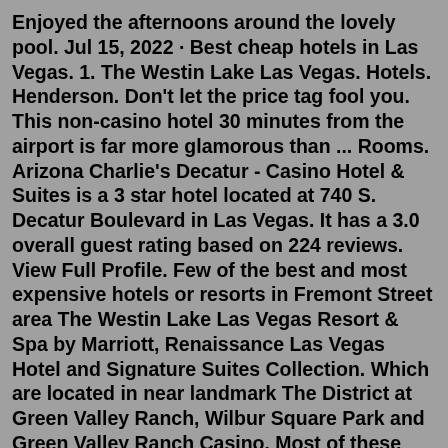Enjoyed the afternoons around the lovely pool. Jul 15, 2022 · Best cheap hotels in Las Vegas. 1. The Westin Lake Las Vegas. Hotels. Henderson. Don't let the price tag fool you. This non-casino hotel 30 minutes from the airport is far more glamorous than ... Rooms. Arizona Charlie's Decatur - Casino Hotel & Suites is a 3 star hotel located at 740 S. Decatur Boulevard in Las Vegas. It has a 3.0 overall guest rating based on 224 reviews. View Full Profile. Few of the best and most expensive hotels or resorts in Fremont Street area The Westin Lake Las Vegas Resort & Spa by Marriott, Renaissance Las Vegas Hotel and Signature Suites Collection. Which are located in near landmark The District at Green Valley Ranch, Wilbur Square Park and Green Valley Ranch Casino. Most of these upscale boutique hotel ...There are so many cheap hotels in Las Vegas that the price may seem like a typo. And in Sin City, cheap doesn't mean dismal. Many of Las Vegas' best hotels start well under $100, and in many cases, under $50 in low season. As an LA resident she covers travel and